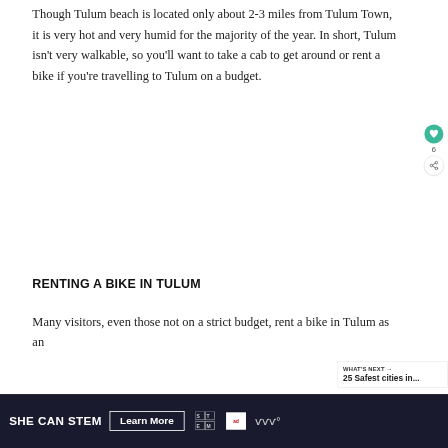Though Tulum beach is located only about 2-3 miles from Tulum Town, it is very hot and very humid for the majority of the year. In short, Tulum isn't very walkable, so you'll want to take a cab to get around or rent a bike if you're travelling to Tulum on a budget.
RENTING A BIKE IN TULUM
Many visitors, even those not on a strict budget, rent a bike in Tulum as an...
[Figure (other): Social media interaction buttons: teal heart button and share button with count of 6]
[Figure (other): What's Next promotional box showing '25 Safest cities in...']
SHE CAN STEM  Learn More  [STEM logo] [Ad Council logo] [Mornings logo]